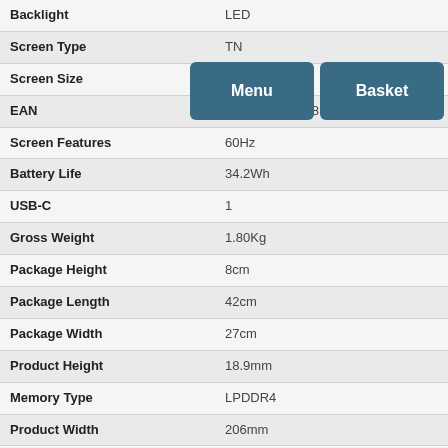| Attribute | Value |
| --- | --- |
| Backlight | LED |
| Screen Type | TN |
| Screen Size | 12.5" |
| EAN | 5060704192048 |
| Screen Features | 60Hz |
| Battery Life | 34.2Wh |
| USB-C | 1 |
| Gross Weight | 1.80Kg |
| Package Height | 8cm |
| Package Length | 42cm |
| Package Width | 27cm |
| Product Height | 18.9mm |
| Memory Type | LPDDR4 |
| Product Width | 206mm |
| Memory Size | 4GB |
| Battery Pack | Lithium-Polymer |
| Mini HDMI Port(s) | 1 |
| USB 3.0 Port(s) | 2 |
| Bluetooth | v5.0 |
| Audio Jack 3.5 | 1 |